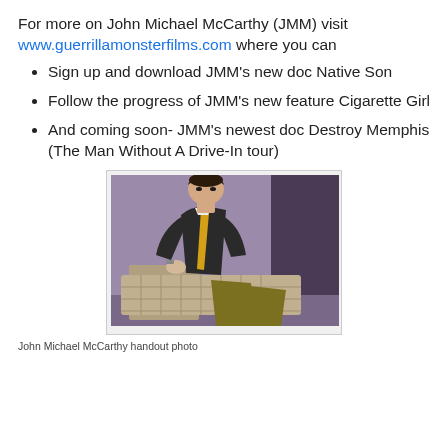For more on John Michael McCarthy (JMM) visit www.guerrillamonsterfilms.com where you can
Sign up and download JMM's new doc Native Son
Follow the progress of JMM's new feature Cigarette Girl
And coming soon- JMM's newest doc Destroy Memphis (The Man Without A Drive-In tour)
[Figure (photo): John Michael McCarthy reclining on a metallic/wicker chair, wearing a dark suit with a yellow tie and olive/mustard trousers, against a purple background.]
John Michael McCarthy handout photo